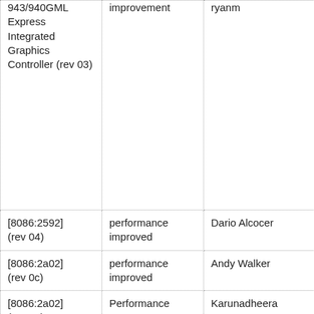| Device | Status | Reporter | Notes |
| --- | --- | --- | --- |
| 943/940GML Express Integrated Graphics Controller (rev 03) | improvement | ryanm | So Ubuntu... |
| [8086:2592] (rev 04) | performance improved | Dario Alcocer | UN 2G... |
| [8086:2a02] (rev 0c) | performance improved | Andy Walker | CPU... |
| [8086:2a02] (rev 03) ASUS F3E | Performance worse | Karunadheera | Wa SKI mo (no son... |
| [8086:27a2] (rev 03) | Seems for be fixed | bhoult | Per... |
| [8086:2562] (rev 01) | performance restored | dot2kode | Vid... |
| [8086:2772] (rev 02) | Idem 8.10 | Guto Mezencio | Per... |